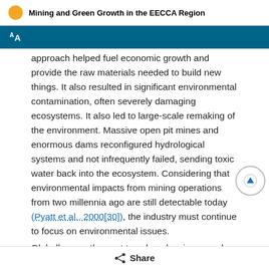Mining and Green Growth in the EECCA Region
approach helped fuel economic growth and provide the raw materials needed to build new things. It also resulted in significant environmental contamination, often severely damaging ecosystems. It also led to large-scale remaking of the environment. Massive open pit mines and enormous dams reconfigured hydrological systems and not infrequently failed, sending toxic water back into the ecosystem. Considering that environmental impacts from mining operations from two millennia ago are still detectable today (Pyatt et al., 2000[30]), the industry must continue to focus on environmental issues.
Globally, over the past two decades, increased scrutiny
Share